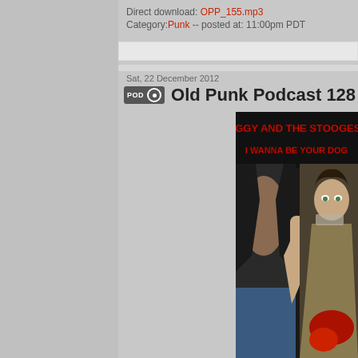Direct download: OPP_155.mp3
Category:Punk -- posted at: 11:00pm PDT
Sat, 22 December 2012
Old Punk Podcast 128
[Figure (photo): Album cover photo for Iggy and the Stooges 'I Wanna Be Your Dog' showing two punk rock figures, one shirtless and one making a rude gesture, with red blood-spatter lettering overlay reading 'IGGY AND THE STOOGES I WANNA BE YOUR DOG']